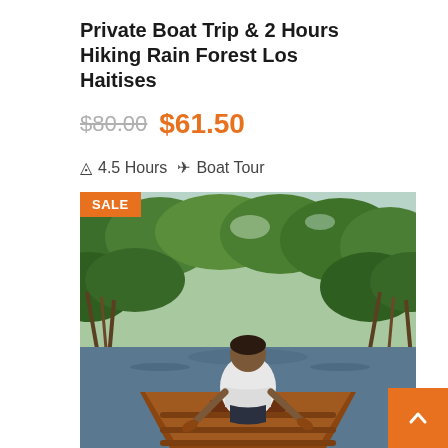Private Boat Trip & 2 Hours Hiking Rain Forest Los Haitises
$80.00  $61.50
4.5 Hours  Boat Tour
[Figure (photo): A person seated in a wooden rowboat, viewed from behind, paddling through a lush green mangrove waterway. A SALE badge appears in the top-left corner of the image.]